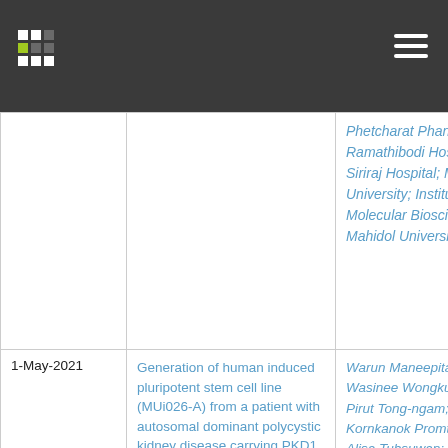Navigation bar with logo and menu
| Date | Title | Authors |
| --- | --- | --- |
|  |  | Phetcharat Phanthong; Ramathibodi Hospital; Siriraj Hospital; Mahidol University; Institute of Molecular Biosciences, Mahidol University |
| 1-May-2021 | Generation of human induced pluripotent stem cell line (MUi026-A) from a patient with autosomal dominant polycystic kidney disease carrying PKD1 point mutation | Warun Maneepitasut; Wasinee Wongkummool; Pirut Tong-ngam; Kornkanok Promthep; Alisa Tubsuwan; Aung Khine Linn; Bunyong Phakdeekitcharoen; |